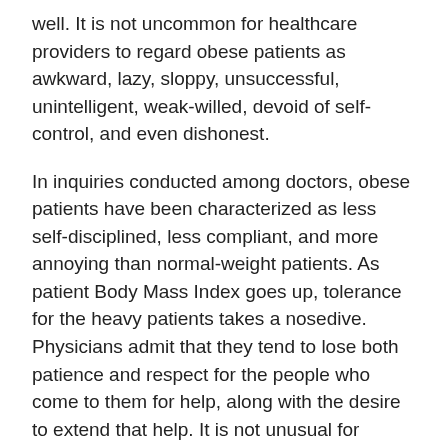well. It is not uncommon for healthcare providers to regard obese patients as awkward, lazy, sloppy, unsuccessful, unintelligent, weak-willed, devoid of self-control, and even dishonest.
In inquiries conducted among doctors, obese patients have been characterized as less self-disciplined, less compliant, and more annoying than normal-weight patients. As patient Body Mass Index goes up, tolerance for the heavy patients takes a nosedive. Physicians admit that they tend to lose both patience and respect for the people who come to them for help, along with the desire to extend that help. It is not unusual for doctors to feel that seeing obese patients is a waste of their highly-trained and specialized time. What happens when healthcare personnel exhibit a biased attitude toward obese patients? Here are some of the negative results cataloged by Dr. Publ...